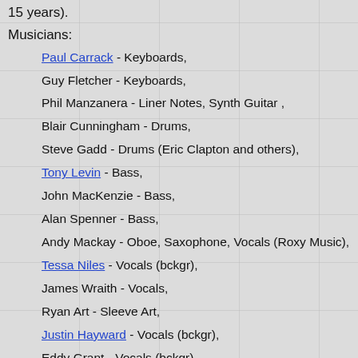15 years).
Musicians:
Paul Carrack - Keyboards,
Guy Fletcher - Keyboards,
Phil Manzanera - Liner Notes, Synth Guitar ,
Blair Cunningham - Drums,
Steve Gadd - Drums (Eric Clapton and others),
Tony Levin - Bass,
John MacKenzie - Bass,
Alan Spenner - Bass,
Andy Mackay - Oboe, Saxophone, Vocals (Roxy Music),
Tessa Niles - Vocals (bckgr),
James Wraith - Vocals,
Ryan Art - Sleeve Art,
Justin Hayward - Vocals (bckgr),
Eddy Grant - Vocals (bckgr),